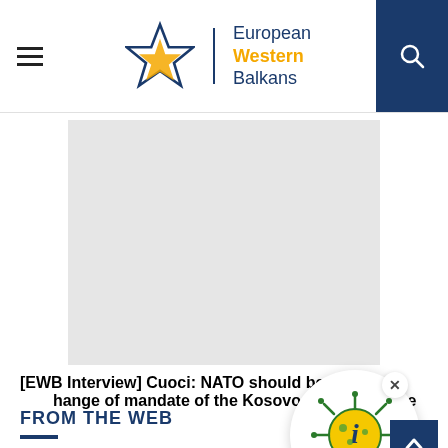European Western Balkans
[Figure (photo): Gray placeholder image for article]
[EWB Interview] Cuoci: NATO should be consulted on change of mandate of the Kosovo Security Force
FROM THE WEB